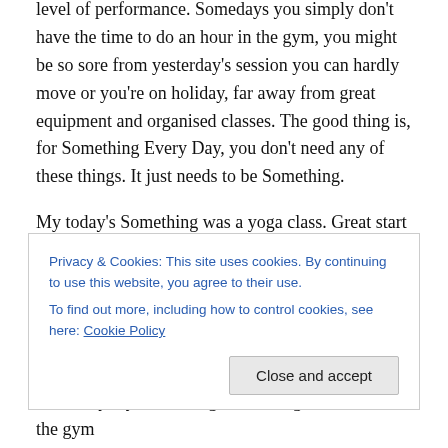level of performance. Somedays you simply don't have the time to do an hour in the gym, you might be so sore from yesterday's session you can hardly move or you're on holiday, far away from great equipment and organised classes. The good thing is, for Something Every Day, you don't need any of these things. It just needs to be Something.
My today's Something was a yoga class. Great start to the morning with the sun coming into the room, warming my skin as I was stretching, holding and performing my Downward Facing Dog with excellence (in my head it
Privacy & Cookies: This site uses cookies. By continuing to use this website, you agree to their use.
To find out more, including how to control cookies, see here: Cookie Policy
Yesterday my Something was a weight session in the gym